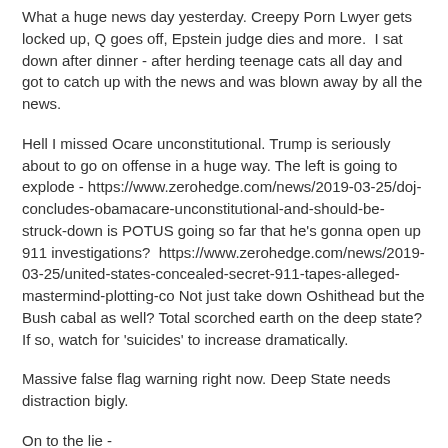What a huge news day yesterday. Creepy Porn Lwyer gets locked up, Q goes off, Epstein judge dies and more.  I sat down after dinner - after herding teenage cats all day and got to catch up with the news and was blown away by all the news.
Hell I missed Ocare unconstitutional. Trump is seriously about to go on offense in a huge way. The left is going to explode - https://www.zerohedge.com/news/2019-03-25/doj-concludes-obamacare-unconstitutional-and-should-be-struck-down is POTUS going so far that he's gonna open up 911 investigations?  https://www.zerohedge.com/news/2019-03-25/united-states-concealed-secret-911-tapes-alleged-mastermind-plotting-co Not just take down Oshithead but the Bush cabal as well? Total scorched earth on the deep state? If so, watch for 'suicides' to increase dramatically.
Massive false flag warning right now. Deep State needs distraction bigly.
On to the lie -